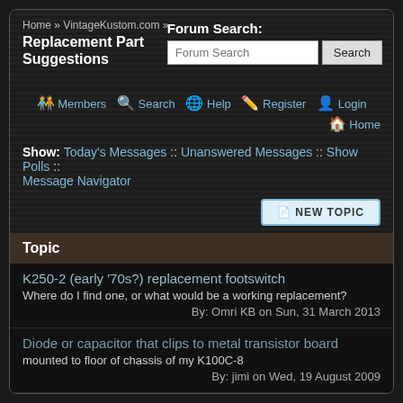Home » VintageKustom.com »
Replacement Part Suggestions
Forum Search:
Forum Search [input] Search [button]
Members
Search
Help
Register
Login
Home
Show: Today's Messages :: Unanswered Messages :: Show Polls :: Message Navigator
NEW TOPIC
Topic
K250-2 (early '70s?) replacement footswitch
Where do I find one, or what would be a working replacement?
By: Omri KB on Sun, 31 March 2013
Diode or capacitor that clips to metal transistor board
mounted to floor of chassis of my K100C-8
By: jimi on Wed, 19 August 2009
Commander Speakers - How many ohms
Speakers
By: bands621 on Thu, 21 March 2013